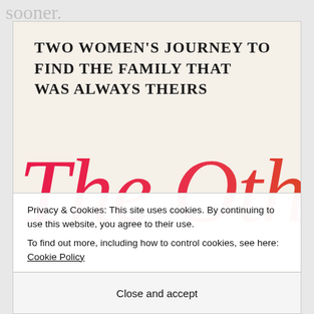sooner.
[Figure (illustration): Book cover showing handwritten-style subtitle text 'Two Women's Journey to Find the Family That Was Always Theirs' and large cursive title 'The Other' in pink/red gradient script]
Privacy & Cookies: This site uses cookies. By continuing to use this website, you agree to their use.
To find out more, including how to control cookies, see here: Cookie Policy
Close and accept